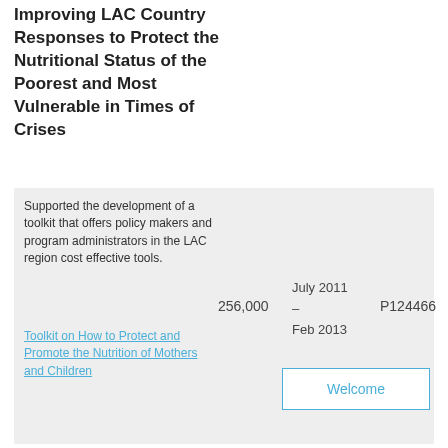Improving LAC Country Responses to Protect the Nutritional Status of the Poorest and Most Vulnerable in Times of Crises
Supported the development of a toolkit that offers policy makers and program administrators in the LAC region cost effective tools.
Toolkit on How to Protect and Promote the Nutrition of Mothers and Children
256,000
July 2011 – Feb 2013
P124466
Welcome